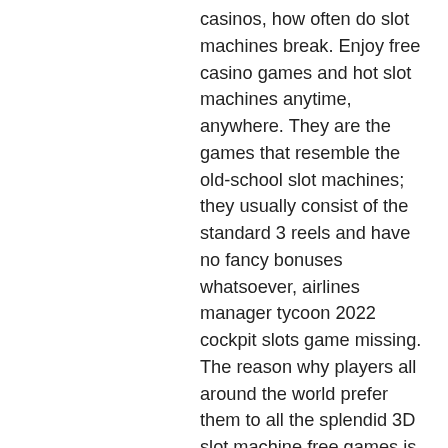casinos, how often do slot machines break. Enjoy free casino games and hot slot machines anytime, anywhere. They are the games that resemble the old-school slot machines; they usually consist of the standard 3 reels and have no fancy bonuses whatsoever, airlines manager tycoon 2022 cockpit slots game missing. The reason why players all around the world prefer them to all the splendid 3D slot machine free games is because of their superpower to teleport players back to the 80s. Casino highest payout card game Blackjack, jackpot magic slots facebook page. Any player entering blackjack card games have more chances of winning than at any other game. As a result, It's an area where quite a significant number of players may find attractive, crypto thrills no deposit bonus codes may 2022. While some players may have thought that Ladbrokes has a considerable number of live casinos on offer, this name bet by the